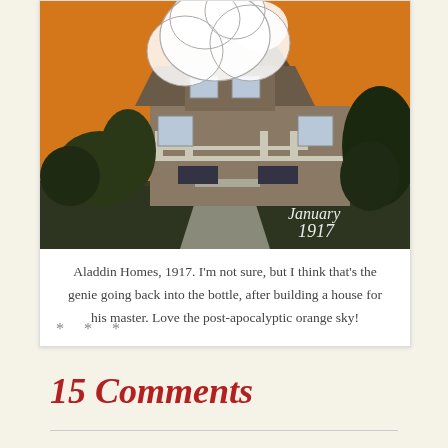[Figure (illustration): Vintage photograph/illustration of an Aladdin Homes house from 1917. A craftsman-style bungalow with a front porch is shown against an orange sky with a large white cloud/genie smoke rising above. Trees flank the house. Text 'January 1917' is handwritten in the lower right corner of the image.]
Aladdin Homes, 1917. I'm not sure, but I think that's the genie going back into the bottle, after building a house for his master. Love the post-apocalyptic orange sky!
* * *
15 Comments